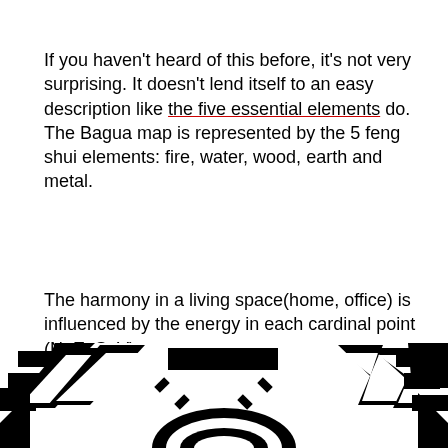If you haven't heard of this before, it's not very surprising. It doesn't lend itself to an easy description like the five essential elements do. The Bagua map is represented by the 5 feng shui elements: fire, water, wood, earth and metal.
The harmony in a living space(home, office) is influenced by the energy in each cardinal point (N, E, S, V).
[Figure (illustration): Bottom portion of a Bagua map diagram showing a circular/octagonal symbol with black and white geometric patterns, chevrons, and decorative elements]